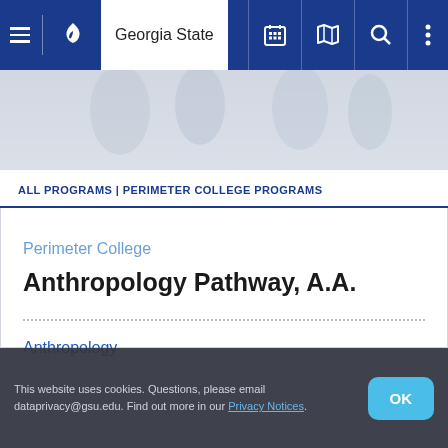Georgia State
[Figure (photo): Hero banner with blurred background image of people]
ALL PROGRAMS | PERIMETER COLLEGE PROGRAMS
Perimeter College
Anthropology Pathway, A.A.
Anthropology
This website uses cookies. Questions, please email dataprivacy@gsu.edu. Find out more in our Privacy Notices.